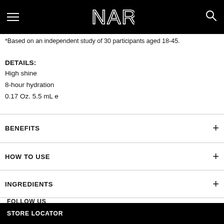NARS (logo navigation bar)
*Based on an independent study of 30 participants aged 18-45.
DETAILS:
High shine
8-hour hydration
0.17 Oz. 5.5 mL e
BENEFITS
HOW TO USE
INGREDIENTS
FOLLOW US
STORE LOCATOR